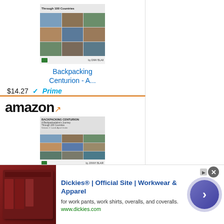[Figure (screenshot): Amazon product listing ad for Backpacking Centurion book - top portion showing book cover, title, price $14.27 with Prime badge, and Shop now button]
[Figure (screenshot): Amazon product listing ad for Backpacking Centurion book - bottom portion with Amazon logo, book cover image, and title]
[Figure (screenshot): Dickies banner advertisement at bottom showing workwear products, Dickies Official Site tagline, description, dickies.com URL, and a call-to-action arrow button]